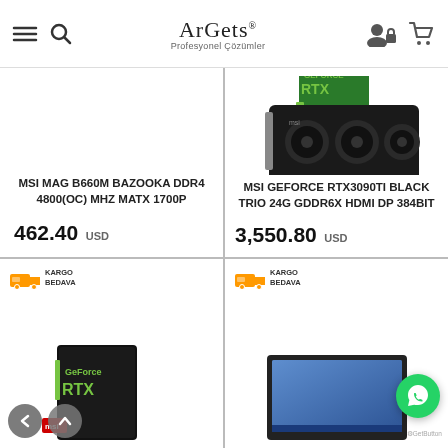ArGets Profesyonel Çözümler
[Figure (photo): MSI MAG B660M product card with title and price 462.40 USD]
[Figure (photo): MSI GeForce RTX3090Ti Black Trio graphics card with box, title and price 3,550.80 USD]
[Figure (photo): Product card bottom-left with KARGO BEDAVA badge and MSI product box partially visible]
[Figure (photo): Product card bottom-right with KARGO BEDAVA badge and laptop screen partially visible, WhatsApp floating button visible]